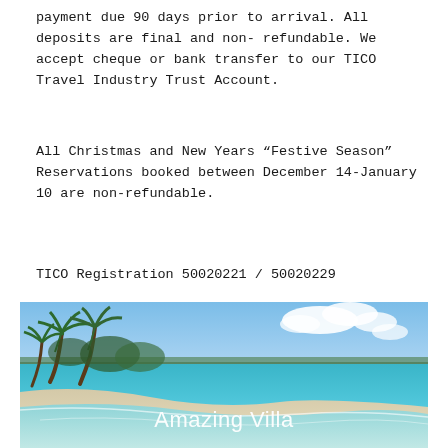payment due 90 days prior to arrival. All deposits are final and non- refundable. We accept cheque or bank transfer to our TICO Travel Industry Trust Account.
All Christmas and New Years “Festive Season” Reservations booked between December 14-January 10 are non-refundable.
TICO Registration 50020221 / 50020229
[Figure (photo): Tropical beach scene with palm trees on the left, white sand beach, turquoise blue ocean water, blue sky with white clouds. Text overlay reads 'Amazing Villa'.]